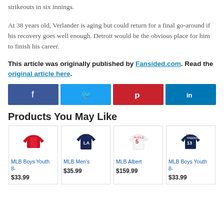strikeouts in six innings.
At 38 years old, Verlander is aging but could return for a final go-around if his recovery goes well enough. Detroit would be the obvious place for him to finish his career.
This article was originally published by Fansided.com. Read the original article here.
[Figure (other): Social share buttons: Facebook, Twitter, Pinterest, LinkedIn]
Products You May Like
[Figure (other): Product grid with 4 MLB items: MLB Boys Youth 8- $33.99, MLB Men's $35.99, MLB Albert $159.99, MLB Boys Youth 8- $33.99]